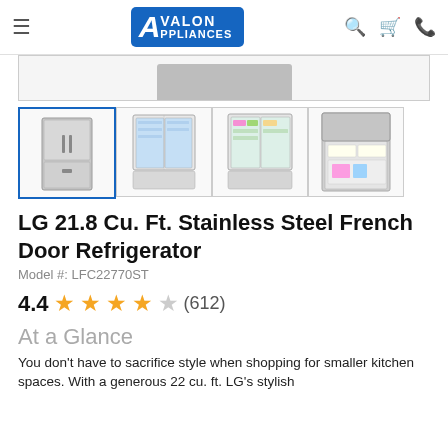Avalon Appliances
[Figure (photo): Main product image area showing top of refrigerator]
[Figure (photo): Four product thumbnail images of LG French Door Refrigerator from different angles]
LG 21.8 Cu. Ft. Stainless Steel French Door Refrigerator
Model #: LFC22770ST
4.4 ★★★★☆ (612)
At a Glance
You don't have to sacrifice style when shopping for smaller kitchen spaces. With a generous 22 cu. ft. LG's stylish